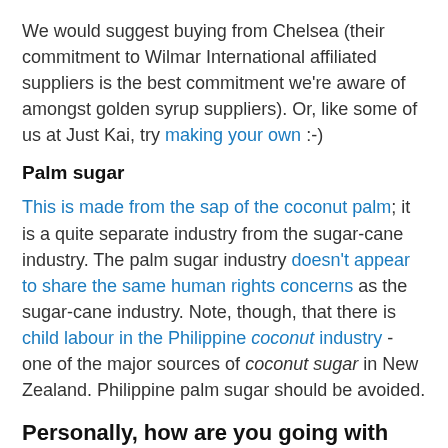We would suggest buying from Chelsea (their commitment to Wilmar International affiliated suppliers is the best commitment we're aware of amongst golden syrup suppliers). Or, like some of us at Just Kai, try making your own :-)
Palm sugar
This is made from the sap of the coconut palm; it is a quite separate industry from the sugar-cane industry. The palm sugar industry doesn't appear to share the same human rights concerns as the sugar-cane industry. Note, though, that there is child labour in the Philippine coconut industry - one of the major sources of coconut sugar in New Zealand. Philippine palm sugar should be avoided.
Personally, how are you going with buying slave-free sugar?